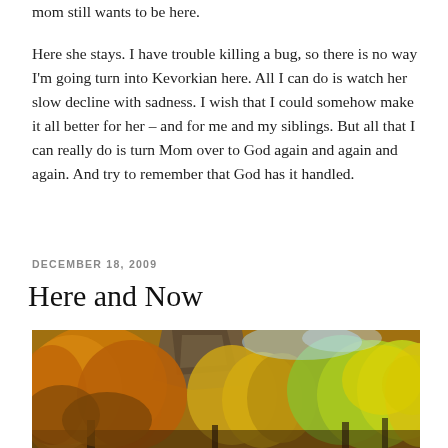mom still wants to be here.
Here she stays. I have trouble killing a bug, so there is no way I'm going turn into Kevorkian here. All I can do is watch her slow decline with sadness. I wish that I could somehow make it all better for her – and for me and my siblings. But all that I can really do is turn Mom over to God again and again and again. And try to remember that God has it handled.
DECEMBER 18, 2009
Here and Now
[Figure (photo): Autumn trees with yellow and golden foliage against a blue sky, with a rocky cliff or dark rock formation visible in the upper center of the image.]